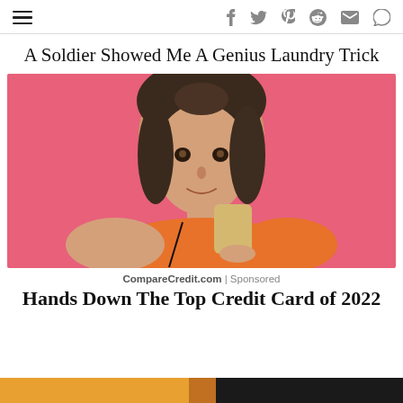☰ f 𝕏 𝕡 reddit ✉ 💬
A Soldier Showed Me A Genius Laundry Trick
[Figure (photo): Young woman with dark hair and bangs, wearing an orange top, holding a bar of soap near her face, with a pink background]
CompareCredit.com | Sponsored
Hands Down The Top Credit Card of 2022
[Figure (photo): Bottom strip of another article image with orange/warm tones]